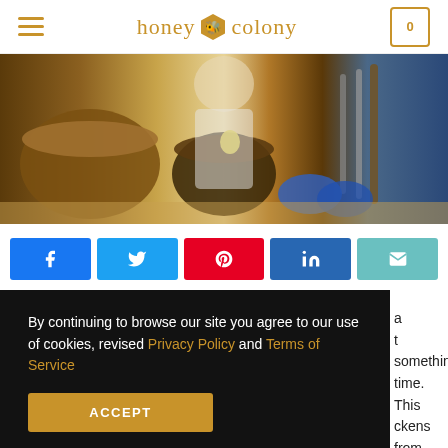honey colony
[Figure (photo): Kitchen scene with mixing bowls, utensils, and cookware on a counter]
[Figure (infographic): Social share buttons: Facebook, Twitter, Pinterest, LinkedIn, Email]
By continuing to browse our site you agree to our use of cookies, revised Privacy Policy and Terms of Service
ACCEPT
a t something time. This ckens from